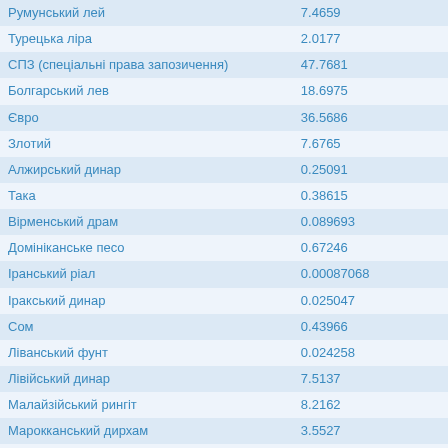| Валюта | Курс |
| --- | --- |
| Румунський лей | 7.4659 |
| Турецька ліра | 2.0177 |
| СПЗ (спеціальні права запозичення) | 47.7681 |
| Болгарський лев | 18.6975 |
| Євро | 36.5686 |
| Злотий | 7.6765 |
| Алжирський динар | 0.25091 |
| Така | 0.38615 |
| Вірменський драм | 0.089693 |
| Домініканське песо | 0.67246 |
| Іранський ріал | 0.00087068 |
| Іракський динар | 0.025047 |
| Сом | 0.43966 |
| Ліванський фунт | 0.024258 |
| Лівійський динар | 7.5137 |
| Малайзійський рингіт | 8.2162 |
| Марокканський дирхам | 3.5527 |
| Пакистанська рупія | 0.15316 |
| Саудівський ріял | 9.7363 |
| Донг | 0.0015659 |
| Бат | 1.00882 |
| Дирхам ОАЕ | 9.9558 |
| Туніський динар | 11.6305 |
| Узбецький сум | 0.0033511 |
| Новий тайванський долар | 1.22234 |
| Туркменський новий манат | 10.4482 |
| Сербський динар | 0.31815 |
| Сомоні | 3.562 |
| Ларі | 13.2615 |